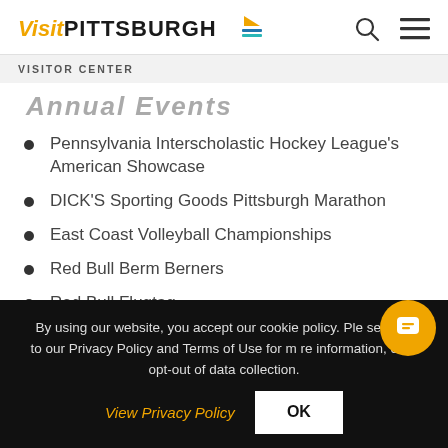Visit PITTSBURGH [logo with bridge/river icon] [search icon] [menu icon]
VISITOR CENTER
Annual Events (partially visible)
Pennsylvania Interscholastic Hockey League's American Showcase
DICK'S Sporting Goods Pittsburgh Marathon
East Coast Volleyball Championships
Red Bull Berm Berners
Red Bull Flugtag
By using our website, you accept our cookie policy. Please refer to our Privacy Policy and Terms of Use for more information, or to opt-out of data collection.
View Privacy Policy | OK